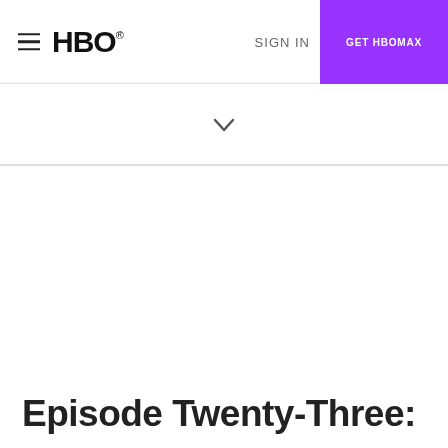HBO — SIGN IN — GET HBOMAX
Episode Twenty-Three: